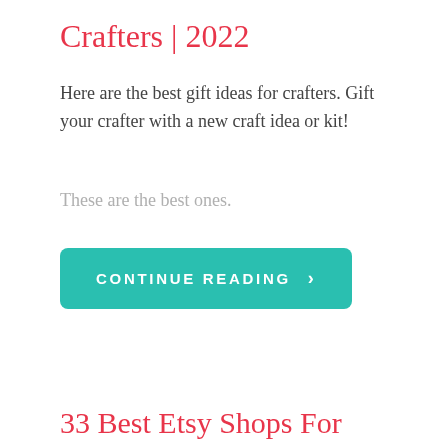Crafters | 2022
Here are the best gift ideas for crafters. Gift your crafter with a new craft idea or kit!
These are the best ones.
[Figure (other): Teal/green rounded rectangle button with white uppercase text 'CONTINUE READING >']
33 Best Etsy Shops For